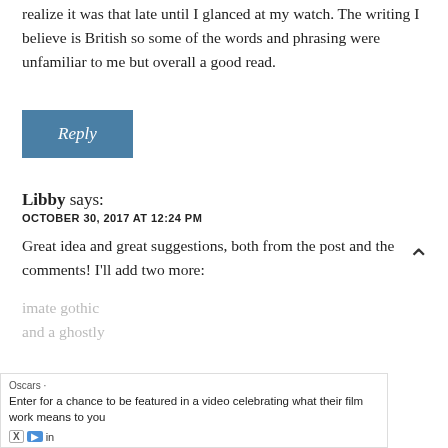realize it was that late until I glanced at my watch. The writing I believe is British so some of the words and phrasing were unfamiliar to me but overall a good read.
Reply
Libby says:
OCTOBER 30, 2017 AT 12:24 PM
Great idea and great suggestions, both from the post and the comments! I'll add two more:
imate gothic and a ghostly
Oscars · Enter for a chance to be featured in a video celebrating what their film work means to you
in